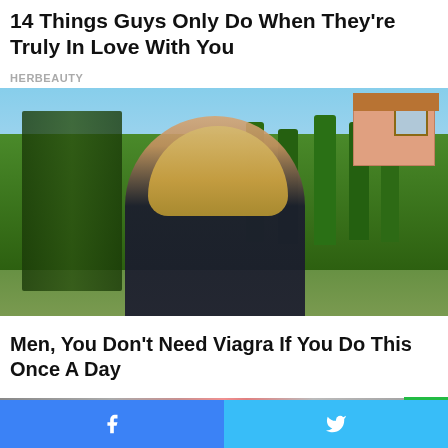14 Things Guys Only Do When They're Truly In Love With You
HERBEAUTY
[Figure (photo): Blonde woman smiling outdoors in front of green cypress trees and a house on a sunny day]
Men, You Don't Need Viagra If You Do This Once A Day
CBD GUMMIES
[Figure (photo): Partially visible image at bottom of page]
[Figure (other): Green button with upward chevron arrow]
[Figure (other): Social share bar with Facebook and Twitter buttons at bottom of page]